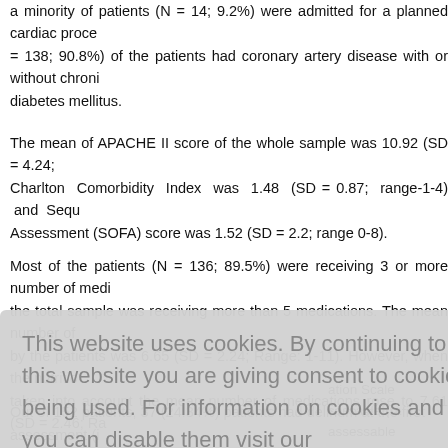a minority of patients (N = 14; 9.2%) were admitted for a planned cardiac procedure = 138; 90.8%) of the patients had coronary artery disease with or without chronic diabetes mellitus.
The mean of APACHE II score of the whole sample was 10.92 (SD = 4.24; Charlton Comorbidity Index was 1.48 (SD = 0.87; range-1-4) and Sequential Assessment (SOFA) score was 1.52 (SD = 2.2; range 0-8).
Most of the patients (N = 136; 89.5%) were receiving 3 or more number of medications; the total sample was receiving more than 5 medications. The mean number of medications by the patients was 6.65 (SD = 2.24; Range: 1-11). However, when the nutritional supplements taken into account the mean number of medications rose to 7.61 (SD = 2.46; Range...
ation Scale sessable (ra assessable ed -3 throu 54 (35.52% ositive for d agnosis was
This website uses cookies. By continuing to use this website you are giving consent to cookies being used. For information on cookies and how you can disable them visit our Privacy and Cookie Policy. [AGREE & PROCEED button]
Out of 152 patients, 37 (24.34%) patients had delirium at the first assessment (i...